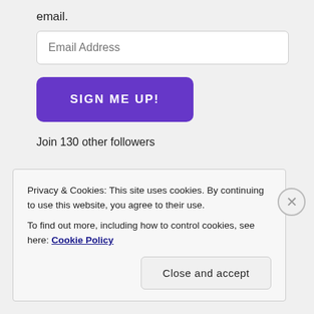email.
Email Address
SIGN ME UP!
Join 130 other followers
BLOG STATS
Privacy & Cookies: This site uses cookies. By continuing to use this website, you agree to their use.
To find out more, including how to control cookies, see here: Cookie Policy
Close and accept